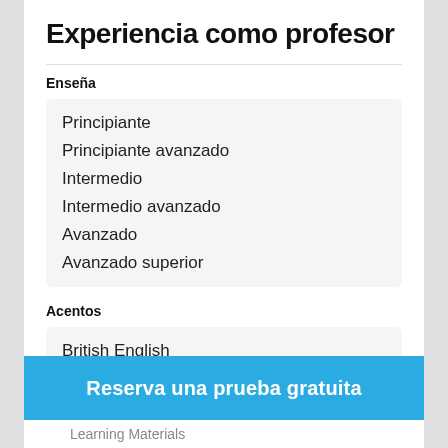Experiencia como profesor
Enseña
Principiante
Principiante avanzado
Intermedio
Intermedio avanzado
Avanzado
Avanzado superior
Acentos
British English
Las clases incluyen
Reserva una prueba gratuita
Learning Materials